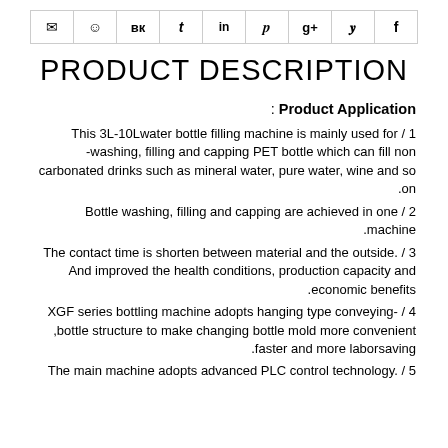Social share icons: email, reddit, vk, tumblr, linkedin, pinterest, google+, twitter, facebook
PRODUCT DESCRIPTION
: Product Application
1 / This 3L-10L water bottle filling machine is mainly used for -washing, filling and capping PET bottle which can fill non carbonated drinks such as mineral water, pure water, wine and so on.
2 / Bottle washing, filling and capping are achieved in one machine.
3 / The contact time is shorten between material and the outside. And improved the health conditions, production capacity and economic benefits.
4 / XGF series bottling machine adopts hanging type conveying- bottle structure to make changing bottle mold more convenient, faster and more laborsaving.
5 / The main machine adopts advanced PLC control technology.